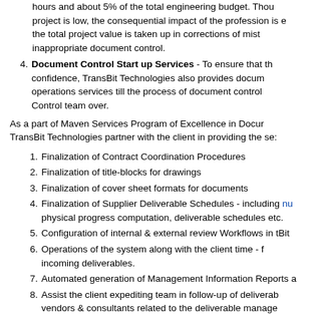hours and about 5% of the total engineering budget. Though the cost to the project is low, the consequential impact of the profession is enormous as up to 20% of the total project value is taken up in corrections of mistakes caused by inappropriate document control.
Document Control Start up Services - To ensure that the client's document control staff start their work with confidence, TransBit Technologies also provides document control start-up operations services till the process of document control is taken over by the Document Control team over.
As a part of Maven Services Program of Excellence in Document Control, TransBit Technologies partner with the client in providing the services:
Finalization of Contract Coordination Procedures
Finalization of title-blocks for drawings
Finalization of cover sheet formats for documents
Finalization of Supplier Deliverable Schedules - including numbering schemes, physical progress computation, deliverable schedules etc.
Configuration of internal & external review Workflows in tBits
Operations of the system along with the client time - for registering incoming deliverables.
Automated generation of Management Information Reports and
Assist the client expediting team in follow-up of deliverables from vendors & consultants related to the deliverable management